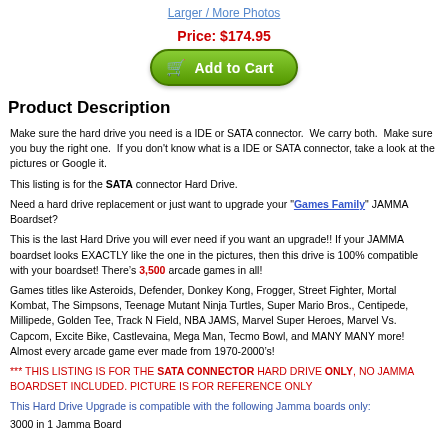Larger / More Photos
Price: $174.95
[Figure (other): Green Add to Cart button with shopping cart icon]
Product Description
Make sure the hard drive you need is a IDE or SATA connector.  We carry both.  Make sure you buy the right one.  If you don't know what is a IDE or SATA connector, take a look at the pictures or Google it.
This listing is for the SATA connector Hard Drive.
Need a hard drive replacement or just want to upgrade your "Games Family" JAMMA Boardset?
This is the last Hard Drive you will ever need if you want an upgrade!! If your JAMMA boardset looks EXACTLY like the one in the pictures, then this drive is 100% compatible with your boardset! There’s 3,500 arcade games in all!
Games titles like Asteroids, Defender, Donkey Kong, Frogger, Street Fighter, Mortal Kombat, The Simpsons, Teenage Mutant Ninja Turtles, Super Mario Bros., Centipede, Millipede, Golden Tee, Track N Field, NBA JAMS, Marvel Super Heroes, Marvel Vs. Capcom, Excite Bike, Castlevaina, Mega Man, Tecmo Bowl, and MANY MANY more! Almost every arcade game ever made from 1970-2000’s!
*** THIS LISTING IS FOR THE SATA CONNECTOR HARD DRIVE ONLY, NO JAMMA BOARDSET INCLUDED. PICTURE IS FOR REFERENCE ONLY
This Hard Drive Upgrade is compatible with the following Jamma boards only:
3000 in 1 Jamma Board